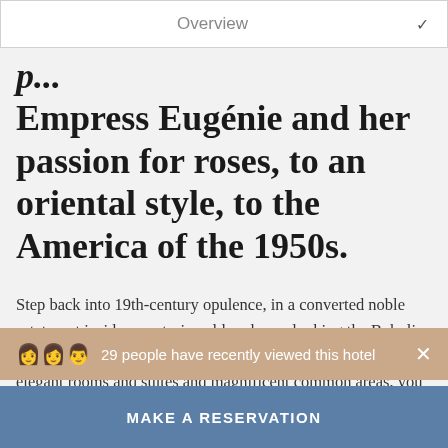Overview
Empress Eugénie and her passion for roses, to an oriental style, to the America of the 1950s.
Step back into 19th-century opulence, in a converted noble estate, set inside a centuries-old park overlooking the Boboli gardens, just minutes from the city center. At home in its elegant rooms and suites and magnificent common areas, you will feel like a true Florentine aristocrat. Each floor of the Villa
29 people have recently viewed this hotel
MAKE A RESERVATION